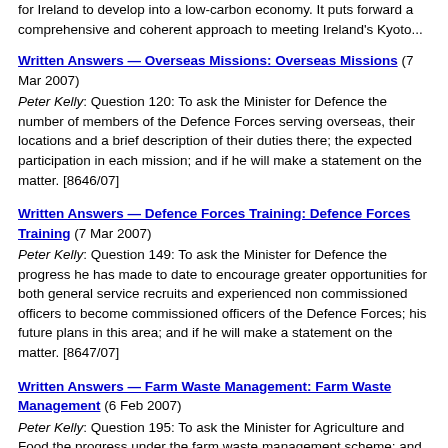for Ireland to develop into a low-carbon economy. It puts forward a comprehensive and coherent approach to meeting Ireland's Kyoto...
Written Answers — Overseas Missions: Overseas Missions (7 Mar 2007)
Peter Kelly: Question 120: To ask the Minister for Defence the number of members of the Defence Forces serving overseas, their locations and a brief description of their duties there; the expected participation in each mission; and if he will make a statement on the matter. [8646/07]
Written Answers — Defence Forces Training: Defence Forces Training (7 Mar 2007)
Peter Kelly: Question 149: To ask the Minister for Defence the progress he has made to date to encourage greater opportunities for both general service recruits and experienced non commissioned officers to become commissioned officers of the Defence Forces; his future plans in this area; and if he will make a statement on the matter. [8647/07]
Written Answers — Farm Waste Management: Farm Waste Management (6 Feb 2007)
Peter Kelly: Question 195: To ask the Minister for Agriculture and Food the progress under the farm waste management scheme; and if she will make a statement on the matter. [3693/07]